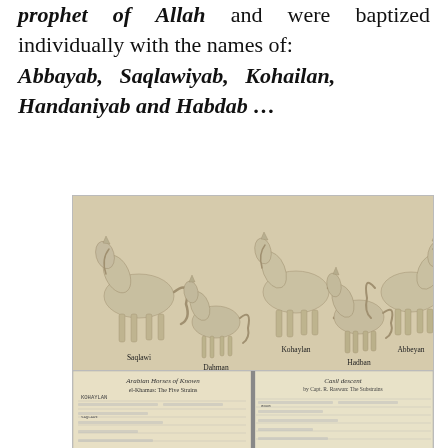prophet of Allah and were baptized individually with the names of: Abbayab, Saqlawiyab, Kohailan, Handaniyab and Habdab …
[Figure (illustration): Vintage illustration of five Arabian horses labeled: Saqlawi, Dahman, Kohaylan, Hadban, Abbeyan on a sepia/tan background.]
[Figure (photo): Photograph of an open book showing pages titled 'Arabian Horses of Known el-Khamas: The Five Strains' and 'Casil descent by Capt. R. Raswan: The Substrains', with handwritten lineage tables.]